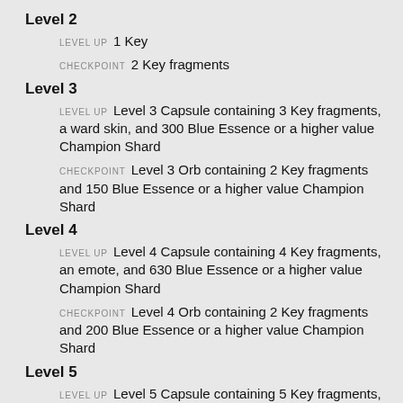Level 2
LEVEL UP 1 Key
CHECKPOINT 2 Key fragments
Level 3
LEVEL UP Level 3 Capsule containing 3 Key fragments, a ward skin, and 300 Blue Essence or a higher value Champion Shard
CHECKPOINT Level 3 Orb containing 2 Key fragments and 150 Blue Essence or a higher value Champion Shard
Level 4
LEVEL UP Level 4 Capsule containing 4 Key fragments, an emote, and 630 Blue Essence or a higher value Champion Shard
CHECKPOINT Level 4 Orb containing 2 Key fragments and 200 Blue Essence or a higher value Champion Shard
Level 5
LEVEL UP Level 5 Capsule containing 5 Key fragments, Grey Warwick or Medieval Twitch, and 960 Blue Essence or a higher value